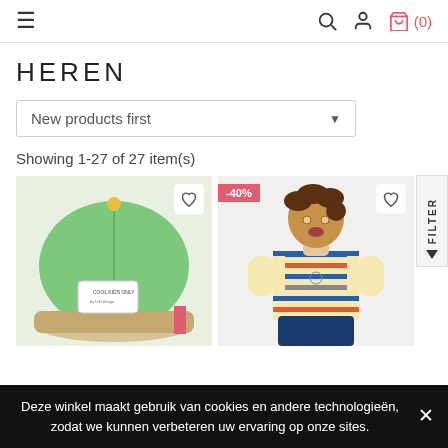≡   🔍 👤 🛒 (0)
HEREN
New products first ▾
Showing 1-27 of 27 item(s)
[Figure (photo): Green snapback baseball cap with 'Cool Kids Only' patch and yellow button on top, product card with heart icon]
[Figure (photo): Boy wearing striped t-shirt, product card with -40% discount badge and heart icon]
Deze winkel maakt gebruik van cookies en andere technologieën, zodat we kunnen verbeteren uw ervaring op onze sites.